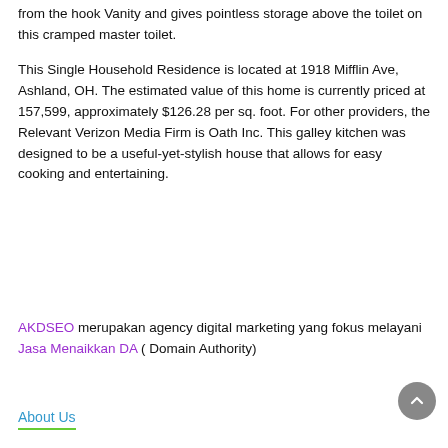from the hook Vanity and gives pointless storage above the toilet on this cramped master toilet.
This Single Household Residence is located at 1918 Mifflin Ave, Ashland, OH. The estimated value of this home is currently priced at 157,599, approximately $126.28 per sq. foot. For other providers, the Relevant Verizon Media Firm is Oath Inc. This galley kitchen was designed to be a useful-yet-stylish house that allows for easy cooking and entertaining.
AKDSEO merupakan agency digital marketing yang fokus melayani Jasa Menaikkan DA ( Domain Authority)
About Us